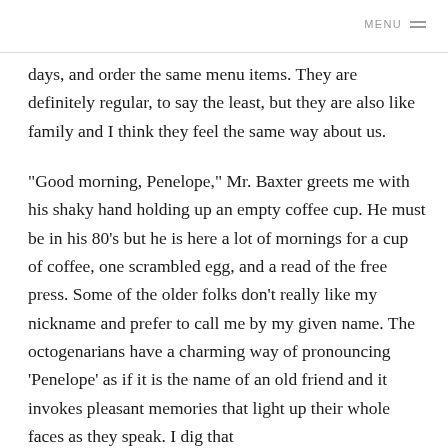MENU ≡
days, and order the same menu items. They are definitely regular, to say the least, but they are also like family and I think they feel the same way about us.
“Good morning, Penelope,” Mr. Baxter greets me with his shaky hand holding up an empty coffee cup. He must be in his 80’s but he is here a lot of mornings for a cup of coffee, one scrambled egg, and a read of the free press. Some of the older folks don’t really like my nickname and prefer to call me by my given name. The octogenarians have a charming way of pronouncing ‘Penelope’ as if it is the name of an old friend and it invokes pleasant memories that light up their whole faces as they speak. I dig that